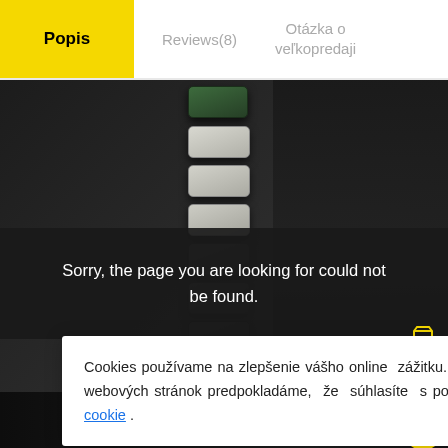Popis | Reviews(8) | Otázka o veľkopredaji
[Figure (photo): Close-up photo of mechanical keyboard keys on a dark background]
Sorry, the page you are looking for could not be found.
Cookies používame na zlepšenie vášho online zážitku. Pokračovaním v prehliadaní týchto webových stránok predpokladáme, že súhlasíte s používaním súborov cookie a Pravidiel cookie .